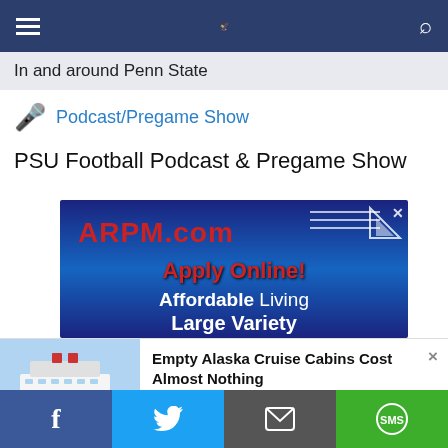In and around Penn State
Podcast/Pregame Show
PSU Football Podcast & Pregame Show
[Figure (infographic): ARPM.com advertisement banner with dark blue background, red ARPM.com logo text, 'Apply Online!' in red, 'Affordable Living' and 'Large Variety' text in white]
[Figure (infographic): Sponsored ad: 'Empty Alaska Cruise Cabins Cost Almost Nothing' with cruise ship photo on left, source: 'Alaska Cruise Deals | sponsored searches | Sponsored']
Facebook | Twitter | Email | SMS share buttons